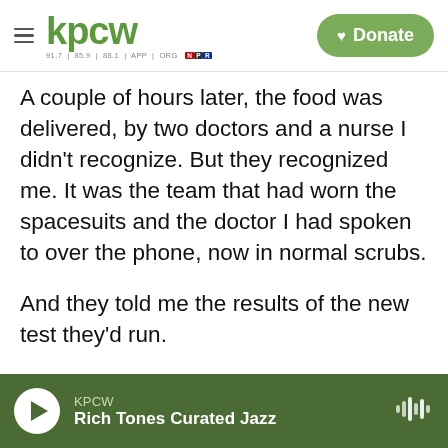kpcw | 91.7 | 85.9 | 88.1 | APP | ORG | NPR | Donate
A couple of hours later, the food was delivered, by two doctors and a nurse I didn't recognize. But they recognized me. It was the team that had worn the spacesuits and the doctor I had spoken to over the phone, now in normal scrubs.
And they told me the results of the new test they'd run.
I had rhinovirus. That's another name for a common cold.
The medical team had shared this info with the D.C. Department of Health and the CDC. And they
KPCW | Rich Tones Curated Jazz